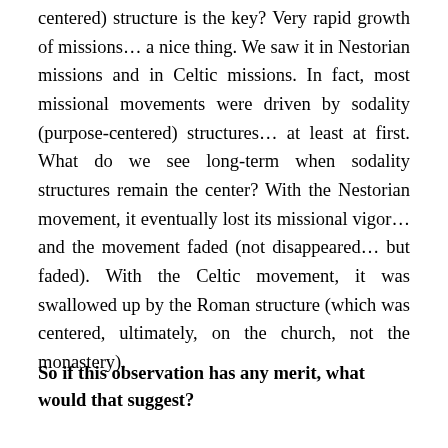centered) structure is the key? Very rapid growth of missions… a nice thing. We saw it in Nestorian missions and in Celtic missions. In fact, most missional movements were driven by sodality (purpose-centered) structures… at least at first. What do we see long-term when sodality structures remain the center? With the Nestorian movement, it eventually lost its missional vigor… and the movement faded (not disappeared… but faded). With the Celtic movement, it was swallowed up by the Roman structure (which was centered, ultimately, on the church, not the monastery).
So if this observation has any merit, what would that suggest?